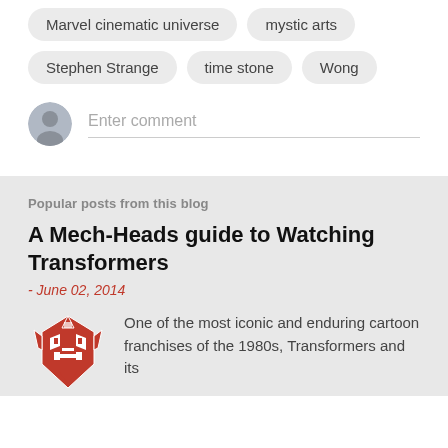Marvel cinematic universe
mystic arts
Stephen Strange
time stone
Wong
Enter comment
Popular posts from this blog
A Mech-Heads guide to Watching Transformers
- June 02, 2014
[Figure (logo): Red Transformers Autobot logo]
One of the most iconic and enduring cartoon franchises of the 1980s, Transformers and its